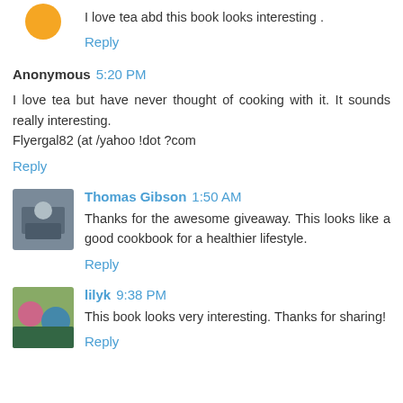I love tea abd this book looks interesting .
Reply
Anonymous 5:20 PM
I love tea but have never thought of cooking with it. It sounds really interesting.
Flyergal82 (at /yahoo !dot ?com
Reply
Thomas Gibson 1:50 AM
Thanks for the awesome giveaway. This looks like a good cookbook for a healthier lifestyle.
Reply
lilyk 9:38 PM
This book looks very interesting. Thanks for sharing!
Reply